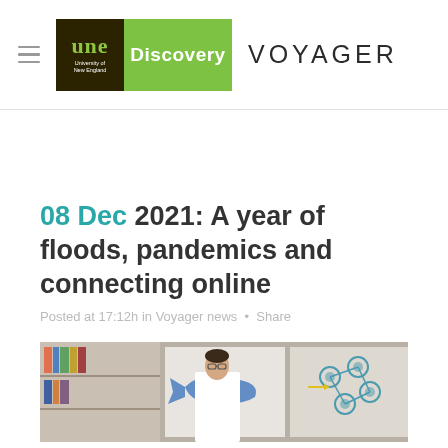UNE Discovery VOYAGER
08 Dec 2021: A year of floods, pandemics and connecting online
Posted at 17:12h in Voyager news · Share
[Figure (photo): A person in a white lab coat standing in a classroom or lab setting with bookshelves and scientific diagrams including a shark and molecular structure visible in the background]